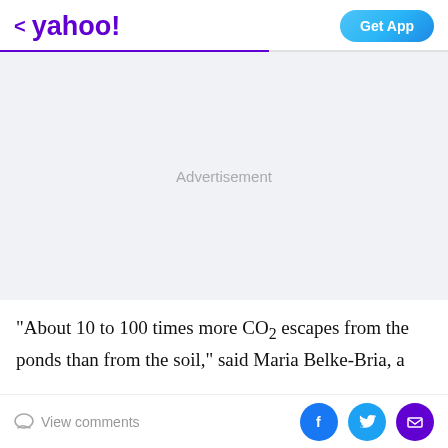< yahoo!   Get App
[Figure (other): Advertisement placeholder area with light gray background and centered 'Advertisement' text label]
"About 10 to 100 times more CO2 escapes from the ponds than from the soil," said Maria Belke-Bria, a
View comments  [Facebook] [Twitter] [Email]